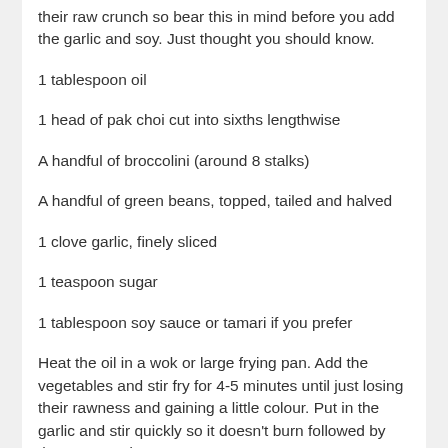their raw crunch so bear this in mind before you add the garlic and soy.  Just thought you should know.
1 tablespoon oil
1 head of pak choi cut into sixths lengthwise
A handful of broccolini (around 8 stalks)
A handful of green beans, topped, tailed and halved
1 clove garlic, finely sliced
1 teaspoon sugar
1 tablespoon soy sauce or tamari if you prefer
Heat the oil in a wok or large frying pan.  Add the vegetables and stir fry for 4-5 minutes until just losing their rawness and gaining a little colour.  Put in the garlic and stir quickly so it doesn't burn followed by the sugar and